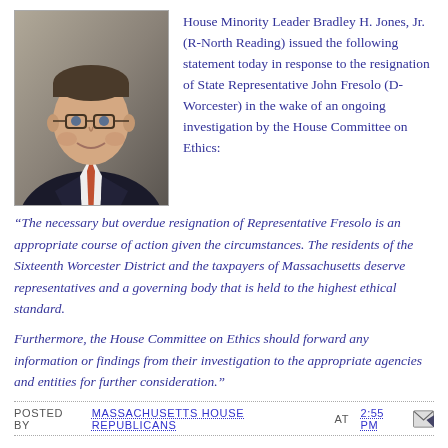[Figure (photo): Portrait photo of House Minority Leader Bradley H. Jones, Jr. — a middle-aged man wearing glasses, a dark suit, white shirt, and orange/red tie, photographed against a neutral gray-brown background.]
House Minority Leader Bradley H. Jones, Jr. (R-North Reading) issued the following statement today in response to the resignation of State Representative John Fresolo (D-Worcester) in the wake of an ongoing investigation by the House Committee on Ethics:
“The necessary but overdue resignation of Representative Fresolo is an appropriate course of action given the circumstances. The residents of the Sixteenth Worcester District and the taxpayers of Massachusetts deserve representatives and a governing body that is held to the highest ethical standard.
Furthermore, the House Committee on Ethics should forward any information or findings from their investigation to the appropriate agencies and entities for further consideration.”
POSTED BY MASSACHUSETTS HOUSE REPUBLICANS AT 2:55 PM